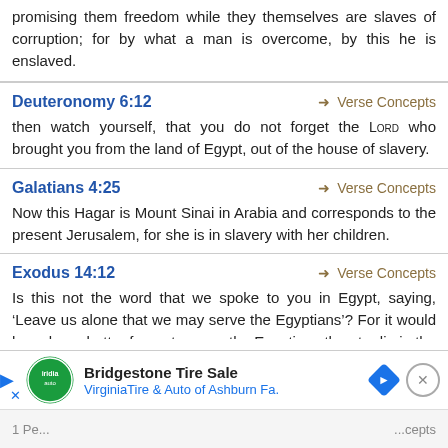promising them freedom while they themselves are slaves of corruption; for by what a man is overcome, by this he is enslaved.
Deuteronomy 6:12
→ Verse Concepts
then watch yourself, that you do not forget the LORD who brought you from the land of Egypt, out of the house of slavery.
Galatians 4:25
→ Verse Concepts
Now this Hagar is Mount Sinai in Arabia and corresponds to the present Jerusalem, for she is in slavery with her children.
Exodus 14:12
→ Verse Concepts
Is this not the word that we spoke to you in Egypt, saying, ‘Leave us alone that we may serve the Egyptians’? For it would have been better for us to serve the Egyptians than to die in the wilderness.”
[Figure (infographic): Bridgestone Tire Sale advertisement banner with iridia auto logo, play button, navigation arrow, close button, and VirginiaTire & Auto of Ashburn Fa. text with blue diamond navigation icon]
1 Pe...   ...cepts